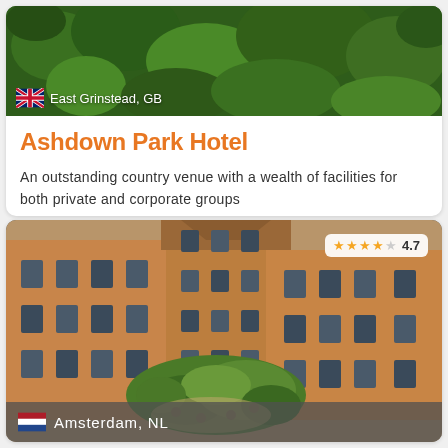[Figure (photo): Aerial view of Ashdown Park Hotel surrounded by green trees]
East Grinstead, GB
Ashdown Park Hotel
An outstanding country venue with a wealth of facilities for both private and corporate groups
[Figure (photo): Aerial view of a large brick building with courtyard garden in Amsterdam]
4.7
Amsterdam, NL